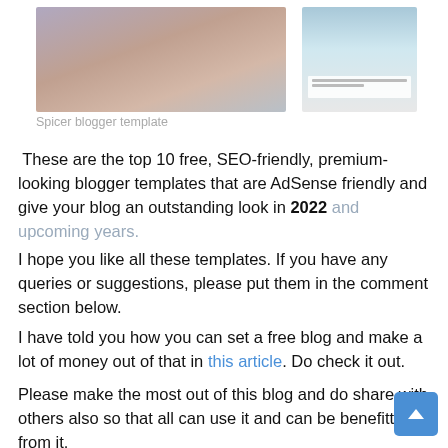[Figure (photo): Two side-by-side screenshot images of a blogger template. Left image shows a fashion photo of a woman with sunglasses holding a camera. Right image shows a smaller blog layout preview with a figure on a blue background and lorem ipsum text below.]
Spicer blogger template
These are the top 10 free, SEO-friendly, premium-looking blogger templates that are AdSense friendly and give your blog an outstanding look in 2022 and upcoming years.
I hope you like all these templates. If you have any queries or suggestions, please put them in the comment section below.
I have told you how you can set a free blog and make a lot of money out of that in this article. Do check it out.
Please make the most out of this blog and do share with others also so that all can use it and can be benefitted from it.